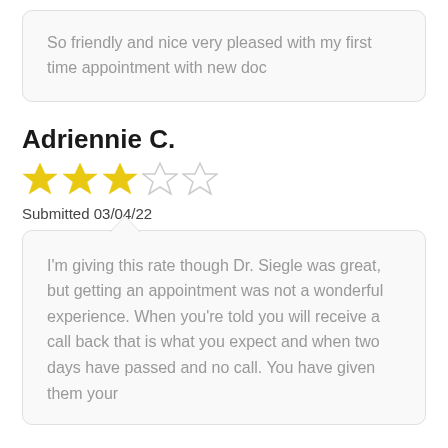So friendly and nice very pleased with my first time appointment with new doc
Adriennie C.
[Figure (other): 3 out of 5 stars rating — three filled yellow stars and two empty outline stars]
Submitted 03/04/22
I'm giving this rate though Dr. Siegle was great, but getting an appointment was not a wonderful experience. When you're told you will receive a call back that is what you expect and when two days have passed and no call. You have given them your